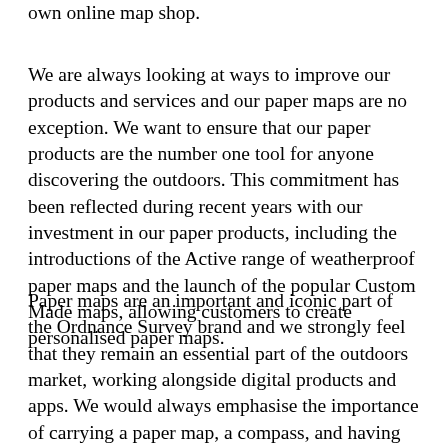own online map shop.
We are always looking at ways to improve our products and services and our paper maps are no exception. We want to ensure that our paper products are the number one tool for anyone discovering the outdoors. This commitment has been reflected during recent years with our investment in our paper products, including the introductions of the Active range of weatherproof paper maps and the launch of the popular Custom Made maps, allowing customers to create personalised paper maps.
Paper maps are an important and iconic part of the Ordnance Survey brand and we strongly feel that they remain an essential part of the outdoors market, working alongside digital products and apps. We would always emphasise the importance of carrying a paper map, a compass, and having navigational skills, to support any digital products and apps that are also being used by outdoors enthusiasts. As part of our commitment to ensure people have the necessary skills to use a paper map, we run regular map reading workshops with Cotswold Outdoor